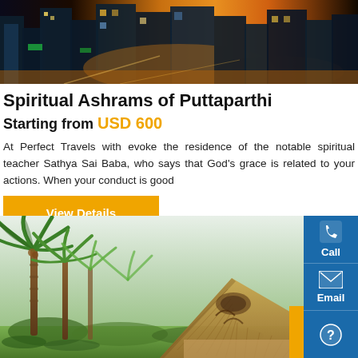[Figure (photo): Aerial/night view of a city with illuminated buildings and orange/golden lights]
Spiritual Ashrams of Puttaparthi
Starting from USD 600
At Perfect Travels with evoke the residence of the notable spiritual teacher Sathya Sai Baba, who says that God's grace is related to your actions. When your conduct is good
View Details
[Figure (photo): Tropical scene with palm trees on the left and a thatched-roof hut structure on the right, with a blue sidebar showing Call, Email, and help icons]